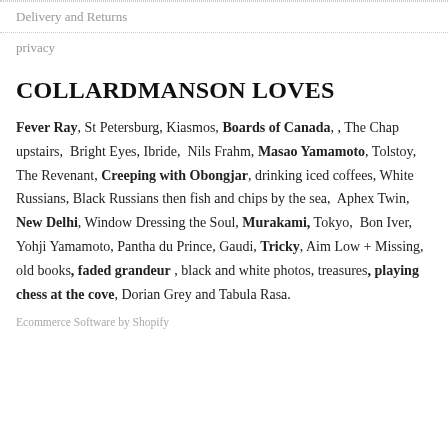Delivery and Returns
privacy
COLLARDMANSON LOVES
Fever Ray, St Petersburg, Kiasmos, Boards of Canada, , The Chap upstairs, Bright Eyes, Ibride, Nils Frahm, Masao Yamamoto, Tolstoy, The Revenant, Creeping with Obongjar, drinking iced coffees, White Russians, Black Russians then fish and chips by the sea, Aphex Twin, New Delhi, Window Dressing the Soul, Murakami, Tokyo, Bon Iver, Yohji Yamamoto, Pantha du Prince, Gaudi, Tricky, Aim Low + Missing, old books, faded grandeur , black and white photos, treasures, playing chess at the cove, Dorian Grey and Tabula Rasa.
Ecommerce Software by Shopify